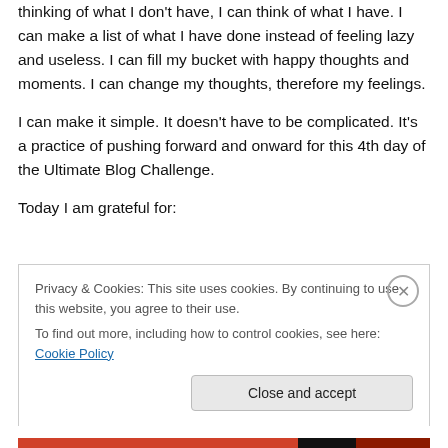thinking of what I don't have, I can think of what I have. I can make a list of what I have done instead of feeling lazy and useless. I can fill my bucket with happy thoughts and moments. I can change my thoughts, therefore my feelings.
I can make it simple. It doesn't have to be complicated. It's a practice of pushing forward and onward for this 4th day of the Ultimate Blog Challenge.
Today I am grateful for:
Privacy & Cookies: This site uses cookies. By continuing to use this website, you agree to their use.
To find out more, including how to control cookies, see here: Cookie Policy
Close and accept